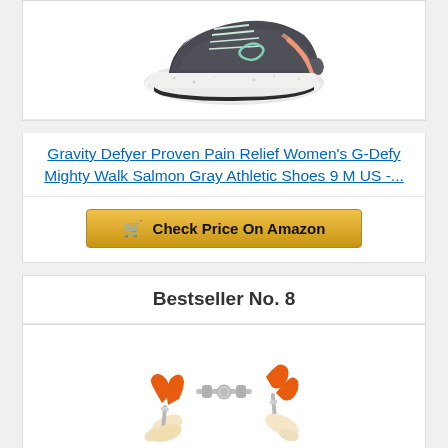[Figure (photo): Gray and salmon/coral athletic running shoe (Gravity Defyer G-Defy Mighty Walk), viewed from the side, on white background]
Gravity Defyer Proven Pain Relief Women's G-Defy Mighty Walk Salmon Gray Athletic Shoes 9 M US -...
Check Price On Amazon
Bestseller No. 8
[Figure (photo): Shoe stretcher / shoe tree device with orange and cream colored parts and metal adjustment rod, shown expanded]